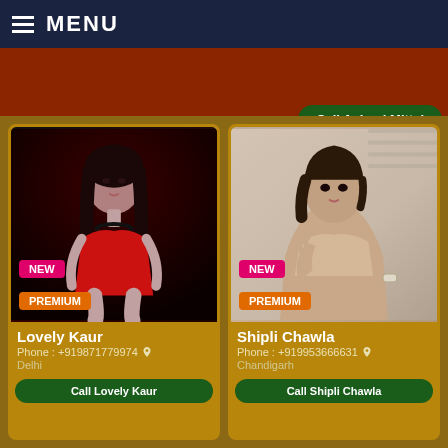MENU
Call Ashnai Mittal
[Figure (photo): Young woman in red strapless swimsuit, dark background, with NEW and PREMIUM badges]
Lovely Kaur
Phone : +919871779974
Delhi
Call Lovely Kaur
[Figure (photo): Young woman in beige/nude outfit, light background, with NEW and PREMIUM badges]
Shipli Chawla
Phone : +919953666631
Chandigarh
Call Shipli Chawla